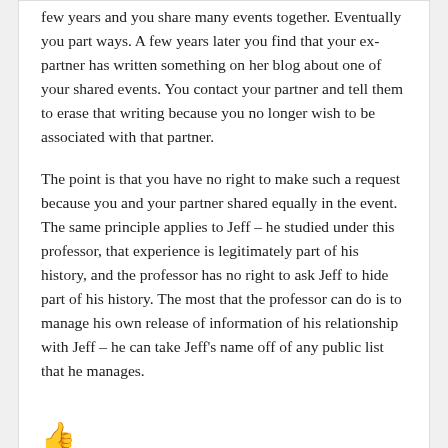few years and you share many events together. Eventually you part ways. A few years later you find that your ex-partner has written something on her blog about one of your shared events. You contact your partner and tell them to erase that writing because you no longer wish to be associated with that partner.

The point is that you have no right to make such a request because you and your partner shared equally in the event. The same principle applies to Jeff – he studied under this professor, that experience is legitimately part of his history, and the professor has no right to ask Jeff to hide part of his history. The most that the professor can do is to manage his own release of information of his relationship with Jeff – he can take Jeff's name off of any public list that he manages.
👍
MM says: